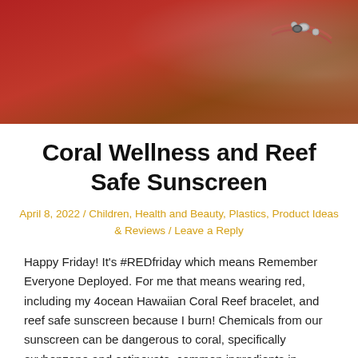[Figure (photo): Partial photo of a person wearing a red shirt and a red/silver braided bracelet, background shows outdoor greenery]
Coral Wellness and Reef Safe Sunscreen
April 8, 2022 / Children, Health and Beauty, Plastics, Product Ideas & Reviews / Leave a Reply
Happy Friday! It’s #REDfriday which means Remember Everyone Deployed. For me that means wearing red, including my 4ocean Hawaiian Coral Reef bracelet, and reef safe sunscreen because I burn! Chemicals from our sunscreen can be dangerous to coral, specifically oxybenzone and octinoxate, common ingredients in